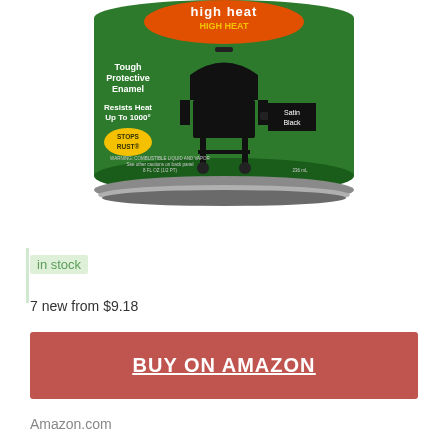[Figure (photo): Product photo of a Rust-Oleum Stops Rust High Heat Tough Protective Enamel spray paint can, Satin Black, 8 FL OZ (1/2 PT) / 236 mL. The can is green with an orange logo, shows a black BBQ grill, and text including 'Resists Heat Up To 1000°'.]
in stock
7 new from $9.18
BUY ON AMAZON
Amazon.com